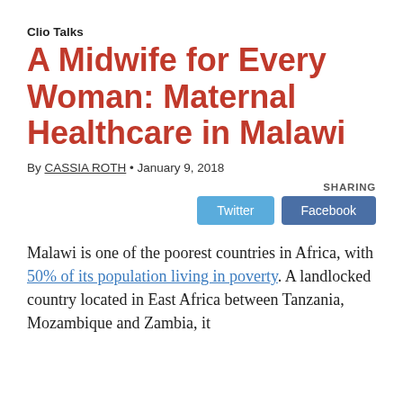Clio Talks
A Midwife for Every Woman: Maternal Healthcare in Malawi
By CASSIA ROTH • January 9, 2018
SHARING
Twitter  Facebook
Malawi is one of the poorest countries in Africa, with 50% of its population living in poverty. A landlocked country located in East Africa between Tanzania, Mozambique and Zambia, it